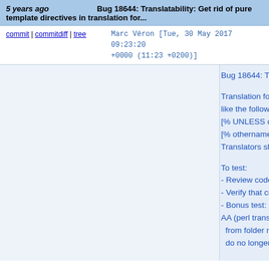5 years ago   Bug 18644: Translatability: Get rid of pure template directives in translation for...
commit | commitdiff | tree   Marc Véron [Tue, 30 May 2017 09:23:20 +0000 (11:23 +0200)]
Bug 18644: Translatability: Get rid of pure template directives in translation for...

Translation for memberentrygen.tt exposes a lot of constructs like the following:
[% UNLESS opduplicate %]
[% othernames | html %][% END %]
Translators should not be confronted with such constructs.

To test:
- Review code changes
- Verify that creating / editing patrons works as before
- Bonus test: Create a "language" aa-AA (perl translate create aa-AA from folder misc/translator, verify that lines like m... do no longer appear in aa-AA-staff-prog.po

Signed-off-by: Jonathan Druart <jonathan.druart@bugs.koha-community.org>
(cherry picked from commit 5a30dea05b158fd6a7...)
Signed-off-by: Fridolin Somers <fridolin.somers@biblibre.com>
(cherry picked from commit 649cdbb91bffb37b0ea...)
Signed-off-by: Katrin Fischer <katrin.fischer.83@web.de>